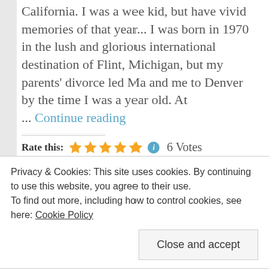California. I was a wee kid, but have vivid memories of that year... I was born in 1970 in the lush and glorious international destination of Flint, Michigan, but my parents' divorce led Ma and me to Denver by the time I was a year old. At ... Continue reading
Rate this: ★★★★★ ℹ 6 Votes
Spread Some Zann:
Privacy & Cookies: This site uses cookies. By continuing to use this website, you agree to their use. To find out more, including how to control cookies, see here: Cookie Policy
Close and accept